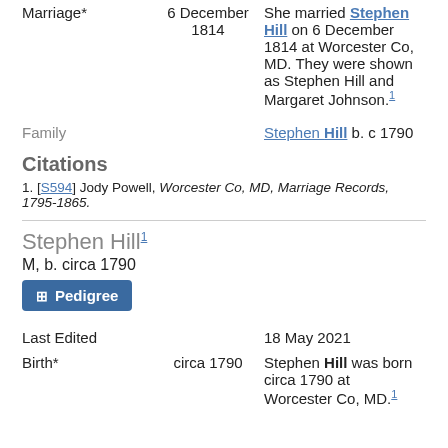| Event | Date | Description |
| --- | --- | --- |
| Marriage* | 6 December 1814 | She married Stephen Hill on 6 December 1814 at Worcester Co, MD. They were shown as Stephen Hill and Margaret Johnson.1 |
| Family |  | Stephen Hill b. c 1790 |
Citations
[S594] Jody Powell, Worcester Co, MD, Marriage Records, 1795-1865.
Stephen Hill1
M, b. circa 1790
Pedigree
| Event | Date | Description |
| --- | --- | --- |
| Last Edited |  | 18 May 2021 |
| Birth* | circa 1790 | Stephen Hill was born circa 1790 at Worcester Co, MD.1 |